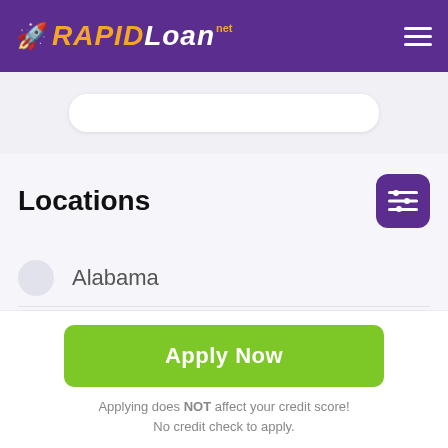RAPIDLoan.net
[Figure (screenshot): Partial search bar / input field at top of page content area]
Locations
Alabama
Alaska
Apply Now
Applying does NOT affect your credit score! No credit check to apply.